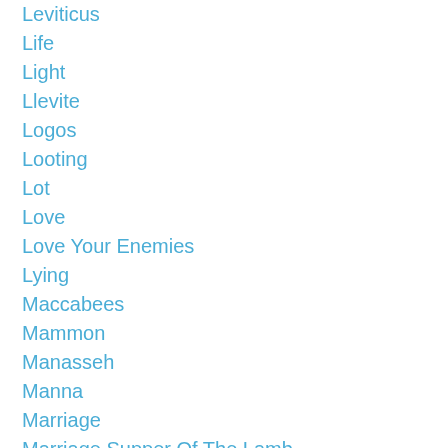Leviticus
Life
Light
Llevite
Logos
Looting
Lot
Love
Love Your Enemies
Lying
Maccabees
Mammon
Manasseh
Manna
Marriage
Marriage Supper Of The Lamb
Mary
Mary-Magdalene
Mashiach
Materialism
Mediator